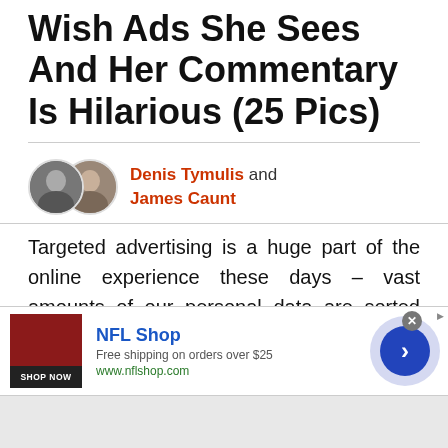Wish Ads She Sees And Her Commentary Is Hilarious (25 Pics)
Denis Tymulis and James Caunt
Targeted advertising is a huge part of the online experience these days – vast amounts of our personal data are sorted through by algorithms to produce ads supposedly tailor-made to best suit our behavior and preferences. It is big business and the main reason why social media and search engine giants are so keen to keep us sharing and clicking as
[Figure (infographic): NFL Shop advertisement banner with red jersey image, Shop Now button, NFL Shop title in blue, Free shipping on orders over $25 text, www.nflshop.com URL, close button, and forward arrow circle button]